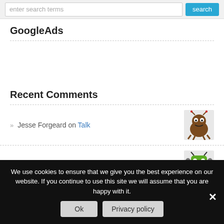[Figure (screenshot): Search bar with text input placeholder 'enter search terms' and a blue 'search' button]
GoogleAds
Recent Comments
Jesse Forgeard on Talk
Philippa on Where can I recycle tetrapaks?
We use cookies to ensure that we give you the best experience on our website. If you continue to use this site we will assume that you are happy with it.